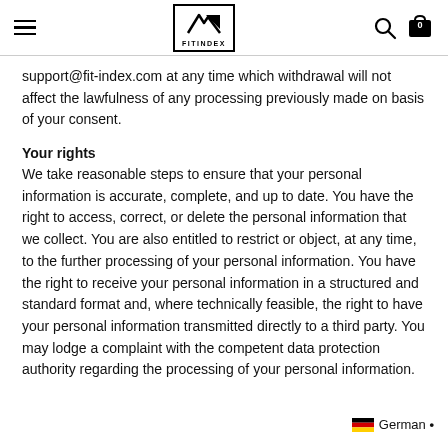FITINDEX
support@fit-index.com at any time which withdrawal will not affect the lawfulness of any processing previously made on basis of your consent.
Your rights
We take reasonable steps to ensure that your personal information is accurate, complete, and up to date. You have the right to access, correct, or delete the personal information that we collect. You are also entitled to restrict or object, at any time, to the further processing of your personal information. You have the right to receive your personal information in a structured and standard format and, where technically feasible, the right to have your personal information transmitted directly to a third party. You may lodge a complaint with the competent data protection authority regarding the processing of your personal information.
German •